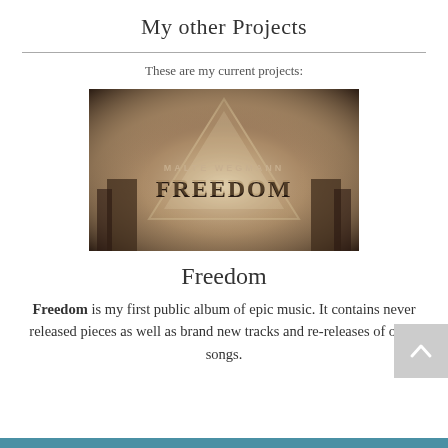My other Projects
These are my current projects:
[Figure (illustration): Album cover for 'Freedom' by Malte Wegmann. Sepia-toned cinematic image with a large triangle/pyramid shape, dramatic lighting, and the text 'MALTE WEGMANN FREEDOM' overlaid in stylized lettering.]
Freedom
Freedom is my first public album of epic music. It contains never released pieces as well as brand new tracks and re-releases of older songs.